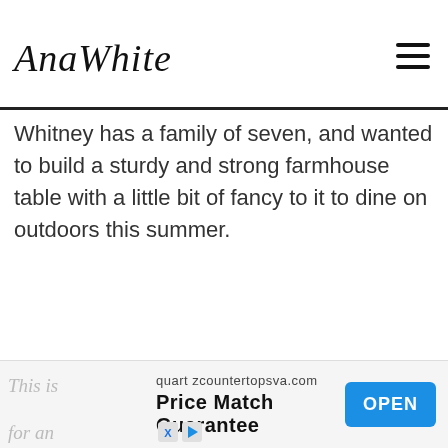AnaWhite
Whitney has a family of seven, and wanted to build a sturdy and strong farmhouse table with a little bit of fancy to it to dine on outdoors this summer.
This is ... need for an ...